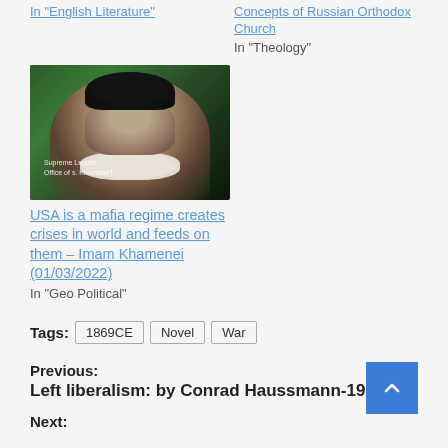In "English Literature"
Concepts of Russian Orthodox Church
In "Theology"
[Figure (photo): Photo of a man in a black turban and white beard, with green background, with a small red label in the top left corner]
USA is a mafia regime creates crises in world and feeds on them – Imam Khamenei (01/03/2022)
In "Geo Political"
Tags: 1869CE  Novel  War
Previous:
Left liberalism: by Conrad Haussmann-1914
Next: